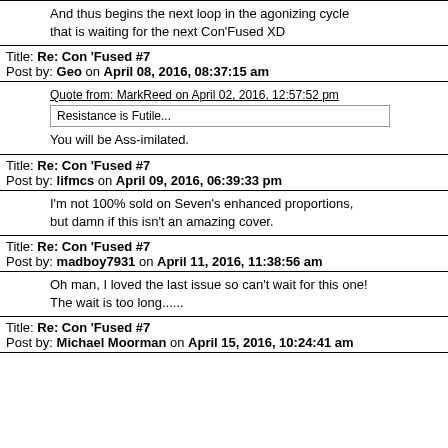Post by: Zombmer on April 08, 2016, 12:05:00 am
And thus begins the next loop in the agonizing cycle that is waiting for the next Con'Fused XD
Title: Re: Con 'Fused #7
Post by: Geo on April 08, 2016, 08:37:15 am
Quote from: MarkReed on April 02, 2016, 12:57:52 pm
Resistance is Futile...
You will be Ass-imilated.
Title: Re: Con 'Fused #7
Post by: lifmcs on April 09, 2016, 06:39:33 pm
I'm not 100% sold on Seven's enhanced proportions, but damn if this isn't an amazing cover.
Title: Re: Con 'Fused #7
Post by: madboy7931 on April 11, 2016, 11:38:56 am
Oh man, I loved the last issue so can't wait for this one! The wait is too long......
Title: Re: Con 'Fused #7
Post by: Michael Moorman on April 15, 2016, 10:24:41 am